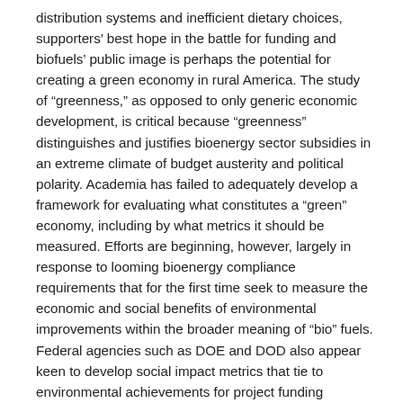distribution systems and inefficient dietary choices, supporters' best hope in the battle for funding and biofuels' public image is perhaps the potential for creating a green economy in rural America. The study of “greenness,” as opposed to only generic economic development, is critical because “greenness” distinguishes and justifies bioenergy sector subsidies in an extreme climate of budget austerity and political polarity. Academia has failed to adequately develop a framework for evaluating what constitutes a “green” economy, including by what metrics it should be measured. Efforts are beginning, however, largely in response to looming bioenergy compliance requirements that for the first time seek to measure the economic and social benefits of environmental improvements within the broader meaning of “bio” fuels. Federal agencies such as DOE and DOD also appear keen to develop social impact metrics that tie to environmental achievements for project funding decisions, thus driving demand by the private sector for standards that define their contributions to a “green” economy.